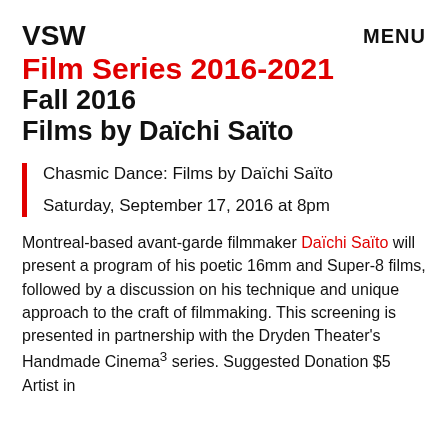VSW
MENU
Film Series 2016-2021
Fall 2016
Films by Daïchi Saïto
Chasmic Dance: Films by Daïchi Saïto
Saturday, September 17, 2016 at 8pm
Montreal-based avant-garde filmmaker Daïchi Saïto will present a program of his poetic 16mm and Super-8 films, followed by a discussion on his technique and unique approach to the craft of filmmaking. This screening is presented in partnership with the Dryden Theater's Handmade Cinema³ series. Suggested Donation $5 Artist in